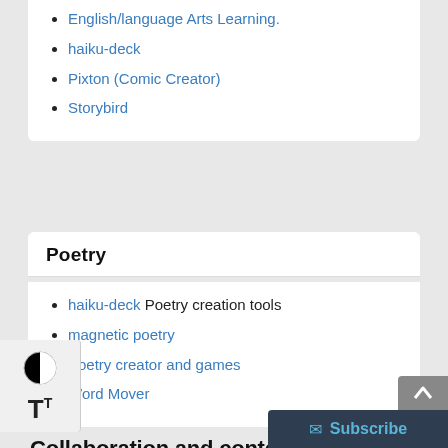English/language Arts Learning.
haiku-deck
Pixton (Comic Creator)
Storybird
Poetry
haiku-deck Poetry creation tools
magnetic poetry
Poetry creator and games
Word Mover
Collaboration and content curation sites
easel.ly Interactive content creation (posters, infographics, video)
Flip Grid: Curating Resources and Videos Flip grid is a social learning platform where educators pose stimulating questions, entrance or exit cards, open-ended questions, mini-presentations, assignments, etc. and students respond in a video f…
Glogster Interactive content creation (posters, infogr…